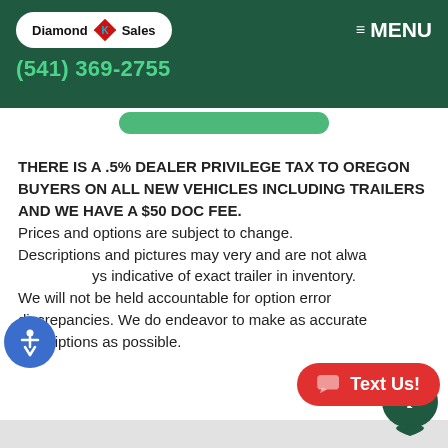[Figure (logo): Diamond K Sales logo in white oval on dark green header with phone number (541) 369-2755 and MENU button]
THERE IS A .5% DEALER PRIVILEGE TAX TO OREGON BUYERS ON ALL NEW VEHICLES INCLUDING TRAILERS AND WE HAVE A $50 DOC FEE. Prices and options are subject to change. Descriptions and pictures may very and are not always indicative of exact trailer in inventory. We will not be held accountable for option error discrepancies. We do endeavor to make as accurate descriptions as possible.